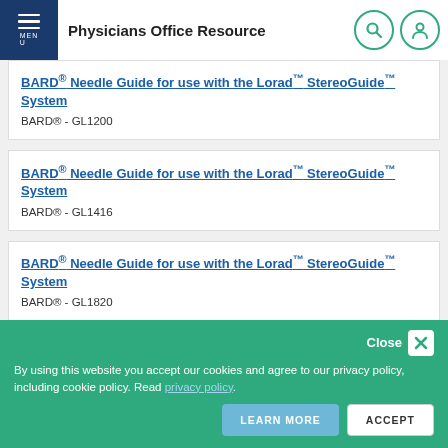Physicians Office Resource
BARD® Needle Guide for use with the Lorad™ StereoGuide™ System
BARD® - GL1200
BARD® Needle Guide for use with the Lorad™ StereoGuide™ System
BARD® - GL1416
BARD® Needle Guide for use with the Lorad™ StereoGuide™ System
BARD® - GL1820
Close
By using this website you accept our cookies and agree to our privacy policy, including cookie policy. Read privacy policy.
LEARN MORE   ACCEPT